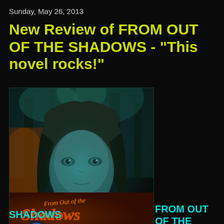Sunday, May 26, 2013
New Review of FROM OUT OF THE SHADOWS - "This novel rocks!"
[Figure (illustration): Book cover for 'From Out of the Shadows' by Linda Mooney, showing a woman's face with dark hair and teal/green tones, forest background, and stylized orange/red title text]
FROM OUT OF THE
SHADOWS